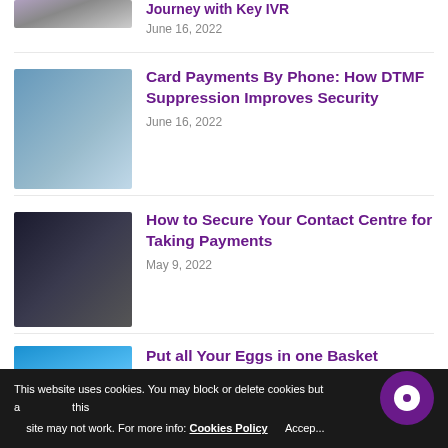[Figure (photo): Partially visible article image at top (cropped)]
Journey with Key IVR
June 16, 2022
[Figure (photo): Man with glasses smiling, holding coffee and a tablet]
Card Payments By Phone: How DTMF Suppression Improves Security
June 16, 2022
[Figure (photo): Group of contact centre workers with headsets]
How to Secure Your Contact Centre for Taking Payments
May 9, 2022
[Figure (photo): Partially visible image with blue background]
Put all Your Eggs in one Basket
This website uses cookies. You may block or delete cookies but affect this site may not work. For more info: Cookies Policy   Accep...